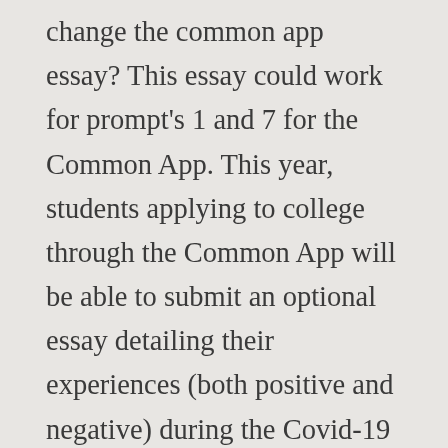change the common app essay? This essay could work for prompt's 1 and 7 for the Common App. This year, students applying to college through the Common App will be able to submit an optional essay detailing their experiences (both positive and negative) during the Covid-19 pandemic. In general, concise, straightforward writing is best, and good essays are ... He is so smart and funny. Blazzie online. Some students have a background, identity, interest, or talent that is so meaningful they believe their application would be incomplete without it. Even their customer support works well. Pomona accepts the Coalition for College Application,